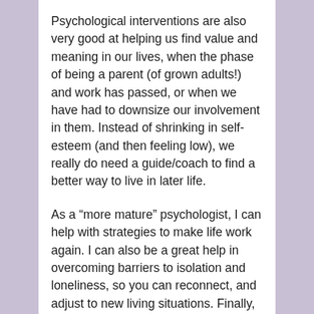Psychological interventions are also very good at helping us find value and meaning in our lives, when the phase of being a parent (of grown adults!) and work has passed, or when we have had to downsize our involvement in them. Instead of shrinking in self-esteem (and then feeling low), we really do need a guide/coach to find a better way to live in later life.
As a “more mature” psychologist, I can help with strategies to make life work again. I can also be a great help in overcoming barriers to isolation and loneliness, so you can reconnect, and adjust to new living situations. Finally, psychological interventions are an effective treatment for depression, therapy